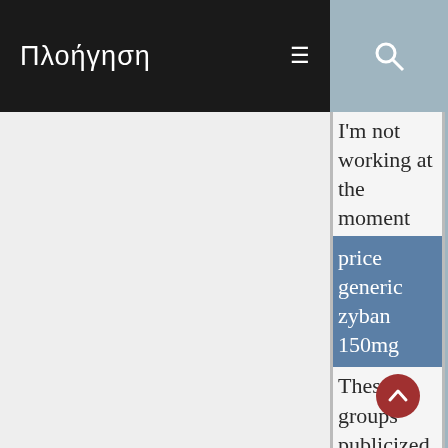Πλοήγηση
I'm not working at the moment
price generic zyban 150mg
These groups publicized their involvement through videos and statements, some of which were used to corroborate the HRW report. The operation appeared to have been largely financed by priv… Gulf-